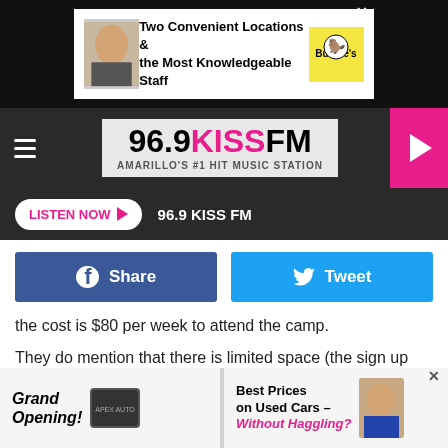[Figure (screenshot): Top advertisement banner: Two Convenient Locations & the Most Knowledgeable Staff]
[Figure (logo): 96.9 KISS FM - Amarillo's #1 Hit Music Station logo with hamburger menu and play button]
[Figure (screenshot): Listen Now button bar with 96.9 KISS FM station name]
[Figure (screenshot): Facebook Share and Twitter Tweet social media buttons]
the cost is $80 per week to attend the camp.
They do mention that there is limited space (the sign up page shows 40 spots available at the time of this writing), so signing up sooner rather than later is encouraged. You can find all of the info by following this link.
THIS HUGE CABIN IN PALO DURO CANYON
[Figure (screenshot): Bottom advertisement: Grand Opening car dealership and Best Prices on Used Cars Without Haggling]